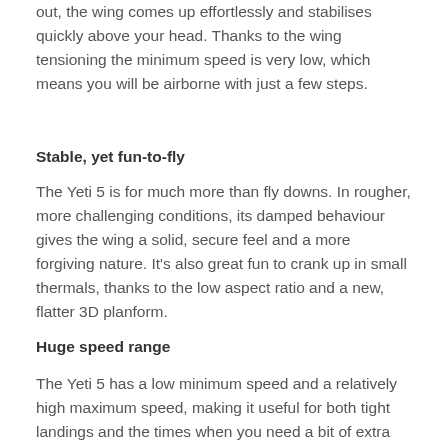out, the wing comes up effortlessly and stabilises quickly above your head. Thanks to the wing tensioning the minimum speed is very low, which means you will be airborne with just a few steps.
Stable, yet fun-to-fly
The Yeti 5 is for much more than fly downs. In rougher, more challenging conditions, its damped behaviour gives the wing a solid, secure feel and a more forgiving nature. It's also great fun to crank up in small thermals, thanks to the low aspect ratio and a new, flatter 3D planform.
Huge speed range
The Yeti 5 has a low minimum speed and a relatively high maximum speed, making it useful for both tight landings and the times when you need a bit of extra penetration